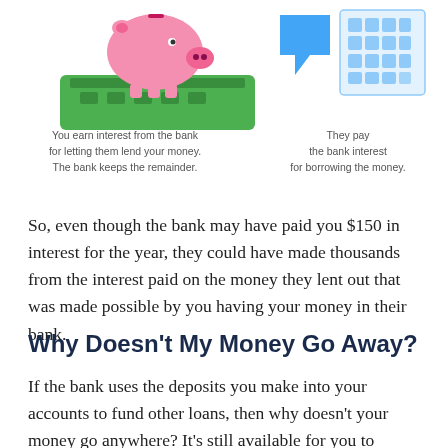[Figure (illustration): Left illustration of a piggy bank on a green money stack (bank), and right illustration of a blue speech bubble and a calendar/grid representing borrowers paying interest to the bank]
You earn interest from the bank for letting them lend your money. The bank keeps the remainder.
They pay the bank interest for borrowing the money.
So, even though the bank may have paid you $150 in interest for the year, they could have made thousands from the interest paid on the money they lent out that was made possible by you having your money in their bank.
Why Doesn't My Money Go Away?
If the bank uses the deposits you make into your accounts to fund other loans, then why doesn't your money go anywhere? It's still available for you to withdraw, so how could it possibly be lent out to someone else?